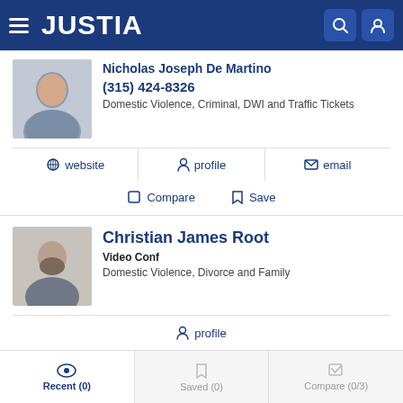JUSTIA
Nicholas Joseph De Martino
(315) 424-8326
Domestic Violence, Criminal, DWI and Traffic Tickets
website  profile  email
Compare  Save
Christian James Root
Video Conf
Domestic Violence, Divorce and Family
profile
Compare  Save
Recent (0)  Saved (0)  Compare (0/3)